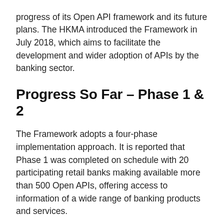progress of its Open API framework and its future plans. The HKMA introduced the Framework in July 2018, which aims to facilitate the development and wider adoption of APIs by the banking sector.
Progress So Far – Phase 1 & 2
The Framework adopts a four-phase implementation approach. It is reported that Phase 1 was completed on schedule with 20 participating retail banks making available more than 500 Open APIs, offering access to information of a wide range of banking products and services.
Websites and mobile apps are increasingly making use of these Open APIs in the provision of various services such as foreign exchange rate information, deposit rate and loan product comparison, according to HKMA.